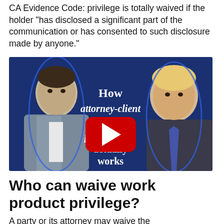CA Evidence Code: privilege is totally waived if the holder "has disclosed a significant part of the communication or has consented to such disclosure made by anyone."
[Figure (screenshot): YouTube video thumbnail showing two men (Michael Cohen on left, Donald Trump on right) against a dark blue background with white bold italic text reading 'How attorney-client privilege actually works', with a YouTube play button overlay in the center.]
Who can waive work product privilege?
A party or its attorney may waive the